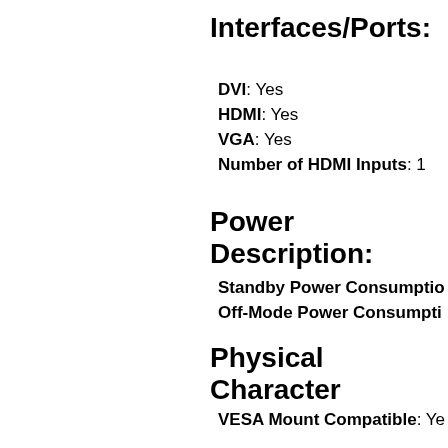Interfaces/Ports:
DVI: Yes
HDMI: Yes
VGA: Yes
Number of HDMI Inputs: 1
Power Description:
Standby Power Consumption
Off-Mode Power Consumption
Physical Character
VESA Mount Compatible: Yes
Color: Black
Height: 12"
Width: 20"
Depth: 2"